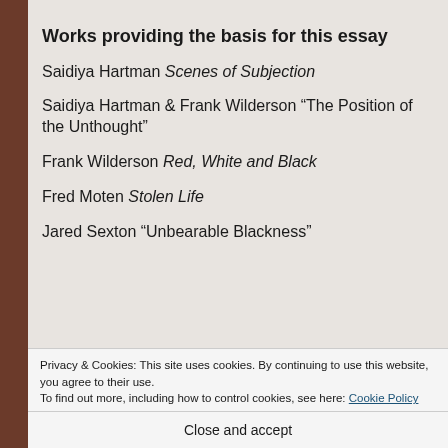Works providing the basis for this essay
Saidiya Hartman Scenes of Subjection
Saidiya Hartman & Frank Wilderson “The Position of the Unthought”
Frank Wilderson Red, White and Black
Fred Moten Stolen Life
Jared Sexton “Unbearable Blackness”
Privacy & Cookies: This site uses cookies. By continuing to use this website, you agree to their use.
To find out more, including how to control cookies, see here: Cookie Policy
Close and accept
ding Che… and the Attention… test…”